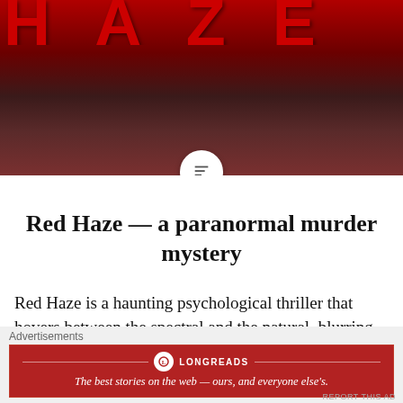[Figure (photo): Dark red horror-themed hero image with large red block letters partially visible at top, and a blurred figure below on dark background]
Red Haze — a paranormal murder mystery
Red Haze is a haunting psychological thriller that hovers between the spectral and the natural, blurring the lines between remembrance and regret, dedication and
Advertisements
[Figure (logo): Longreads advertisement banner: red background with Longreads logo and text 'The best stories on the web — ours, and everyone else's.']